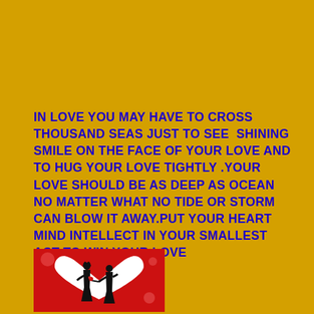IN LOVE YOU MAY HAVE TO CROSS THOUSAND SEAS JUST TO SEE  SHINING SMILE ON THE FACE OF YOUR LOVE AND TO HUG YOUR LOVE TIGHTLY .YOUR LOVE SHOULD BE AS DEEP AS OCEAN NO MATTER WHAT NO TIDE OR STORM CAN BLOW IT AWAY.PUT YOUR HEART MIND INTELLECT IN YOUR SMALLEST ACT TO WIN YOUR LOVE
[Figure (illustration): A romantic silhouette illustration showing a boy presenting a flower to a girl, both in black silhouette against a large white heart shape on a red background.]